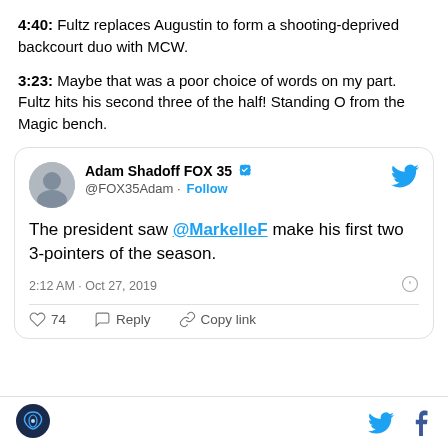4:40: Fultz replaces Augustin to form a shooting-deprived backcourt duo with MCW.
3:23: Maybe that was a poor choice of words on my part. Fultz hits his second three of the half! Standing O from the Magic bench.
[Figure (screenshot): Embedded tweet from Adam Shadoff FOX 35 (@FOX35Adam) with verified badge and Follow button. Tweet text: 'The president saw @MarkelleF make his first two 3-pointers of the season.' Timestamp: 2:12 AM · Oct 27, 2019. Actions: 74 likes, Reply, Copy link.]
Footer with site logo (bird icon), Twitter bird icon, and Facebook f icon